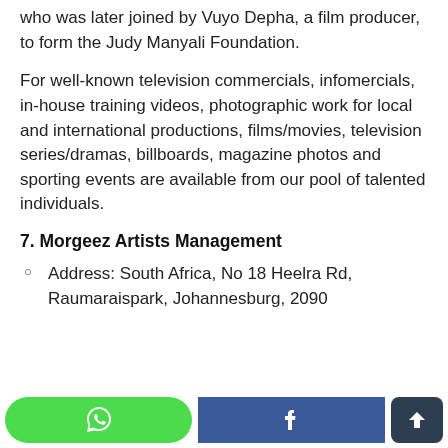who was later joined by Vuyo Depha, a film producer, to form the Judy Manyali Foundation.
For well-known television commercials, infomercials, in-house training videos, photographic work for local and international productions, films/movies, television series/dramas, billboards, magazine photos and sporting events are available from our pool of talented individuals.
7. Morgeez Artists Management
Address: South Africa, No 18 Heelra Rd, Raumaraispark, Johannesburg, 2090